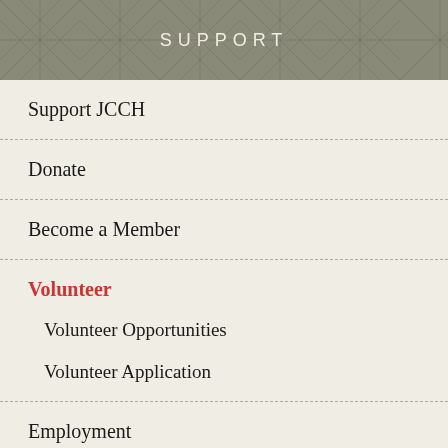SUPPORT
Support JCCH
Donate
Become a Member
Volunteer
Volunteer Opportunities
Volunteer Application
Employment
Privacy Policy
Request for Proposal